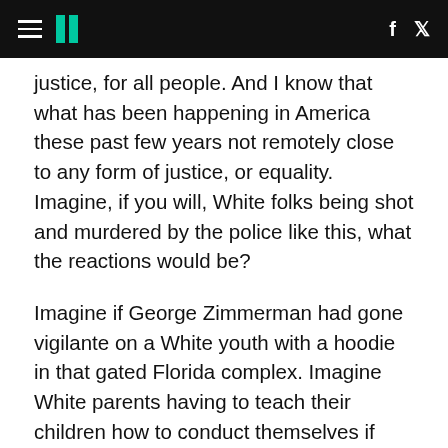HuffPost navigation header with hamburger menu, logo, Facebook and Twitter icons
justice, for all people. And I know that what has been happening in America these past few years not remotely close to any form of justice, or equality. Imagine, if you will, White folks being shot and murdered by the police like this, what the reactions would be?
Imagine if George Zimmerman had gone vigilante on a White youth with a hoodie in that gated Florida complex. Imagine White parents having to teach their children how to conduct themselves if ever confronted by the police. Imagine that Aiyana Stanley Jones was a little 7-year-old White girl instead of a little 7-year-old Black girl, shot by the police as she slept on a